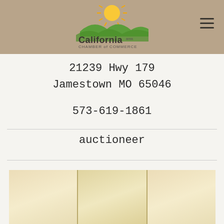[Figure (logo): California Chamber of Commerce logo with sun and green hills, tagline: Fostering Community & Enterprise]
21239 Hwy 179
Jamestown  MO  65046
573-619-1861
auctioneer
[Figure (photo): Partial view of a building exterior with beige/tan panels]